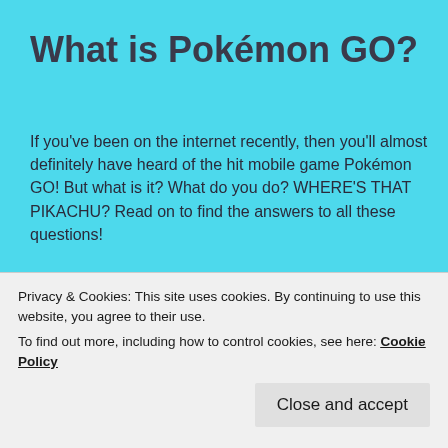What is Pokémon GO?
If you've been on the internet recently, then you'll almost definitely have heard of the hit mobile game Pokémon GO! But what is it? What do you do? WHERE'S THAT PIKACHU? Read on to find the answers to all these questions!
[Figure (photo): Pokémon GO logo with yellow stylized Pokémon text on a dark space/galaxy background with a globe]
Privacy & Cookies: This site uses cookies. By continuing to use this website, you agree to their use.
To find out more, including how to control cookies, see here: Cookie Policy
Close and accept